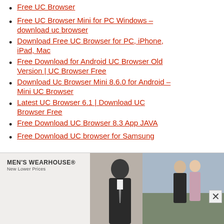Free UC Browser
Free UC Browser Mini for PC Windows – download uc browser
Download Free UC Browser for PC, iPhone, iPad, Mac
Free Download for Android UC Browser Old Version | UC Browser Free
Download Uc Browser Mini 8.6.0 for Android – Mini UC Browser
Latest UC Browser 6.1 | Download UC Browser Free
Free Download UC Browser 8.3 App JAVA
Free Download UC browser for Samsung
[Figure (screenshot): Men's Wearhouse advertisement banner with logo, man in suit, INFO button, and couple in background]